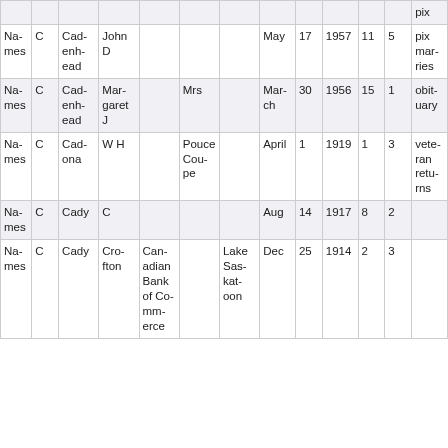| col1 | col2 | col3 | col4 | col5 | col6 | col7 | col8 | col9 | col10 | col11 | col12 | col13 |
| --- | --- | --- | --- | --- | --- | --- | --- | --- | --- | --- | --- | --- |
| Names | C | Cadenhead | John D |  |  |  | May | 17 | 1957 | 11 | 5 | pixmaries |
| Names | C | Cadenhead | Margaret J |  | Mrs |  | March | 30 | 1956 | 15 | 1 | obituary |
| Names | C | Cadona | W H |  | Pouce Coupe |  | April | 1 | 1919 | 1 | 3 | veteran returns |
| Names | C | Cady | C |  |  |  | Aug | 14 | 1917 | 8 | 2 |  |
| Names | C | Cady | Crofton | Canadian Bank of Commerce |  | Lake Saskatoon | Dec | 25 | 1914 | 2 | 3 |  |